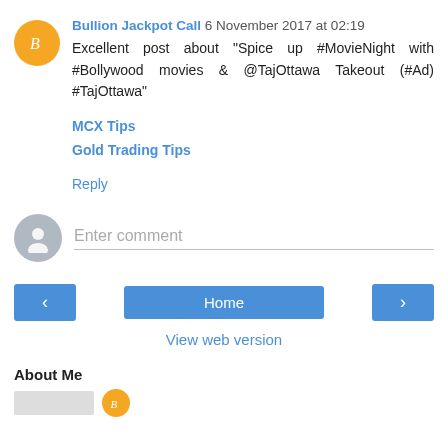Bullion Jackpot Call 6 November 2017 at 02:19
Excellent post about "Spice up #MovieNight with #Bollywood movies & @TajOttawa Takeout (#Ad) #TajOttawa"
MCX Tips
Gold Trading Tips
Reply
Enter comment
Home
View web version
About Me